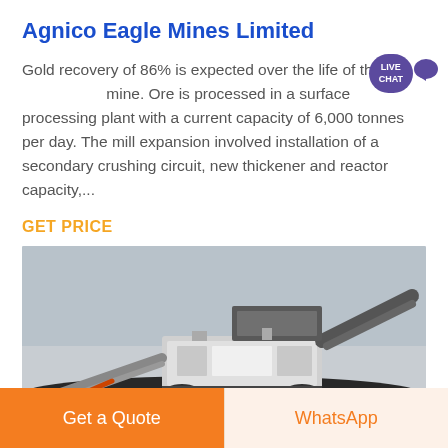Agnico Eagle Mines Limited
Gold recovery of 86% is expected over the life of the mine. Ore is processed in a surface processing plant with a current capacity of 6,000 tonnes per day. The mill expansion involved installation of a secondary crushing circuit, new thickener and reactor capacity,...
GET PRICE
[Figure (photo): Photograph of a large mobile mining/crushing equipment machine on a mine site with dark aggregate piles and overcast sky]
Get a Quote
WhatsApp